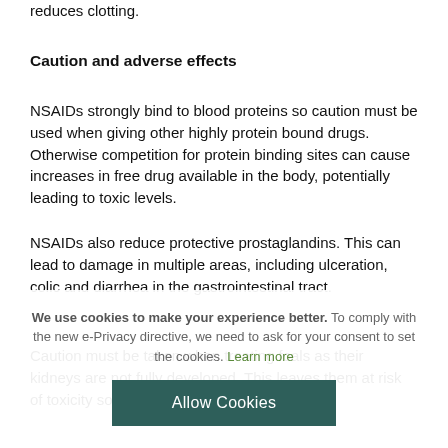reduces clotting.
Caution and adverse effects
NSAIDs strongly bind to blood proteins so caution must be used when giving other highly protein bound drugs. Otherwise competition for protein binding sites can cause increases in free drug available in the body, potentially leading to toxic levels.
NSAIDs also reduce protective prostaglandins. This can lead to damage in multiple areas, including ulceration, colic and diarrhea in the gastrointestinal tract.
Caution must be taken when treating foals as their kidneys are not fully developed. This leaves them at risk of toxicity so it is
We use cookies to make your experience better. To comply with the new e-Privacy directive, we need to ask for your consent to set the cookies. Learn more
Allow Cookies